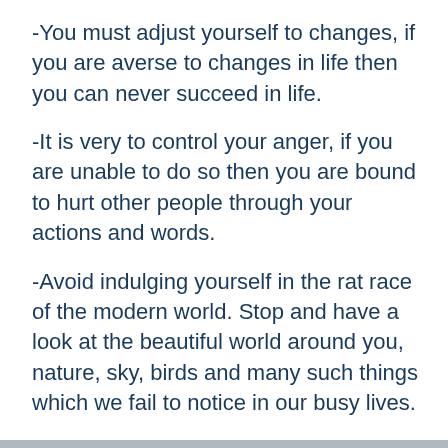-You must adjust yourself to changes, if you are averse to changes in life then you can never succeed in life.
-It is very to control your anger, if you are unable to do so then you are bound to hurt other people through your actions and words.
-Avoid indulging yourself in the rat race of the modern world. Stop and have a look at the beautiful world around you, nature, sky, birds and many such things which we fail to notice in our busy lives.